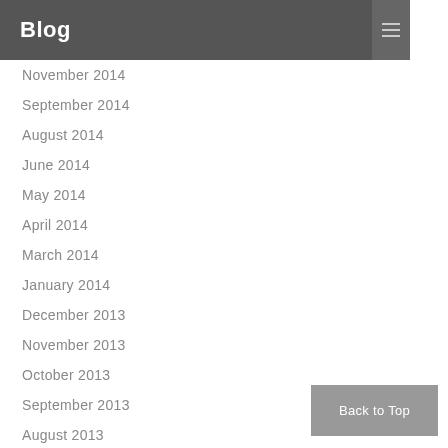Blog
November 2014
September 2014
August 2014
June 2014
May 2014
April 2014
March 2014
January 2014
December 2013
November 2013
October 2013
September 2013
August 2013
July 2013
June 2013
May 2013
Back to Top